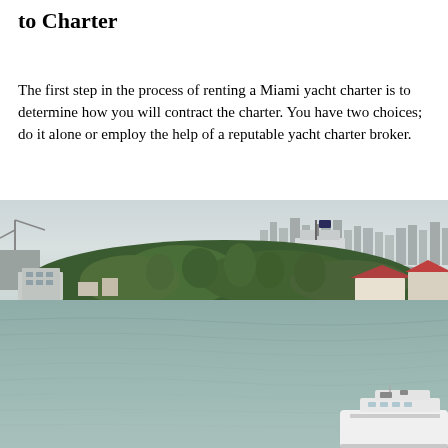to Charter
The first step in the process of renting a Miami yacht charter is to determine how you will contract the charter. You have two choices; do it alone or employ the help of a reputable yacht charter broker.
[Figure (photo): Aerial view of Miami waterway showing a green island with palm trees, luxury homes, and residential buildings in the foreground, with a body of water reflecting the sky. The Miami skyline with tall buildings and a bridge are visible in the background. A large white yacht is visible in the bottom right corner.]